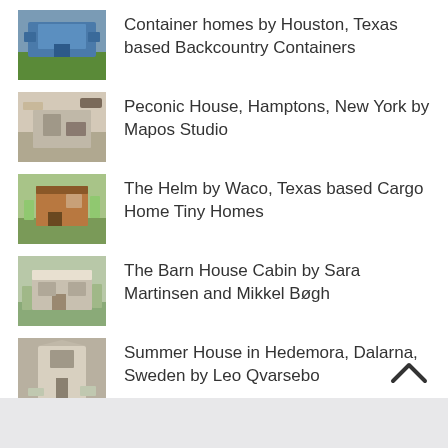Container homes by Houston, Texas based Backcountry Containers
Peconic House, Hamptons, New York by Mapos Studio
The Helm by Waco, Texas based Cargo Home Tiny Homes
The Barn House Cabin by Sara Martinsen and Mikkel Bøgh
Summer House in Hedemora, Dalarna, Sweden by Leo Qvarsebo